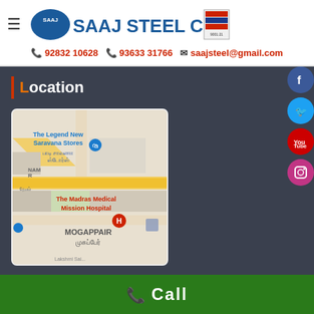SAAJ STEEL CORPORATION
92832 10628  93633 31766  saajsteel@gmail.com
Location
[Figure (map): Google map screenshot showing Mogappair area in Chennai, India. Landmarks visible: The Legend New Saravana Stores, The Madras Medical Mission Hospital, MOGAPPAIR / முகப்பேர். Text in Tamil script also visible.]
Call